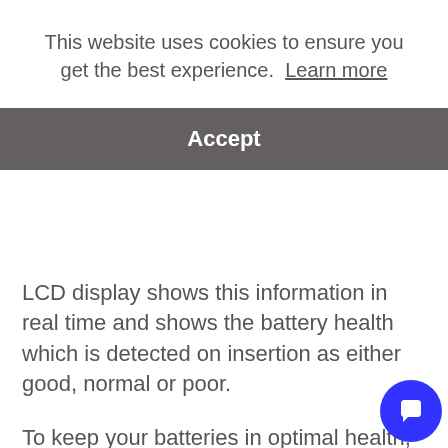This website uses cookies to ensure you get the best experience.  Learn more
Accept
LCD display shows this information in real time and shows the battery health which is detected on insertion as either good, normal or poor.
To keep your batteries in optimal health, the charger features over-discharge activation, reverse polarity protection and anti-short circuit protection. Made from durable, fire retardant PC materials and